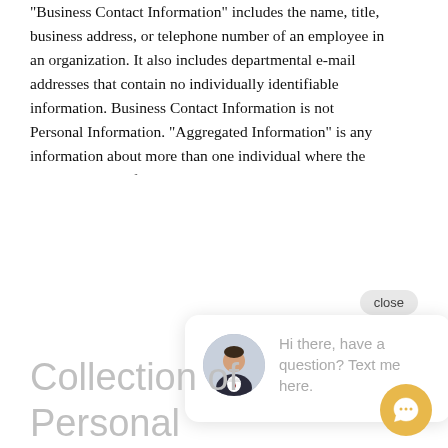"Business Contact Information" includes the name, title, business address, or telephone number of an employee in an organization. It also includes departmental e-mail addresses that contain no individually identifiable information. Business Contact Information is not Personal Information. "Aggregated Information" is any information about more than one individual where the individual identi... infer... Aggre... Perso...
[Figure (screenshot): Chat popup overlay with close button, avatar of a man in suit, and text 'Hi there, have a question? Text me here.' with a gold circular chat FAB button]
Collection of Personal